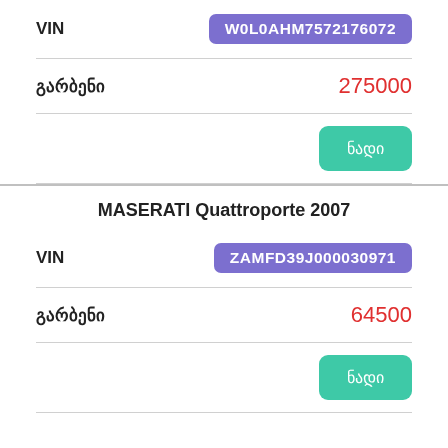VIN  W0L0AHM7572176072
გარბენი  275000
ნადი (button)
MASERATI Quattroporte 2007
VIN  ZAMFD39J000030971
გარბენი  64500
ნადი (button)